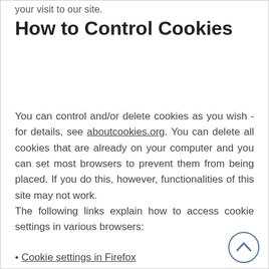your visit to our site.
How to Control Cookies
You can control and/or delete cookies as you wish - for details, see aboutcookies.org. You can delete all cookies that are already on your computer and you can set most browsers to prevent them from being placed. If you do this, however, functionalities of this site may not work.
The following links explain how to access cookie settings in various browsers:
Cookie settings in Firefox